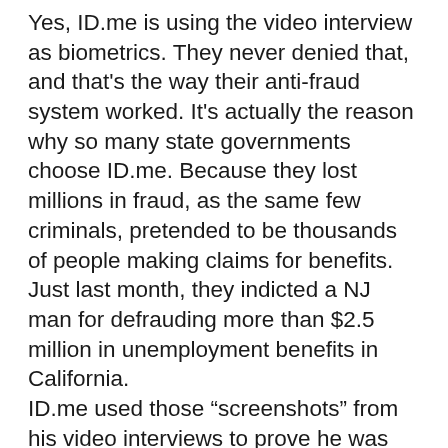Yes, ID.me is using the video interview as biometrics. They never denied that, and that’s the way their anti-fraud system worked. It’s actually the reason why so many state governments choose ID.me. Because they lost millions in fraud, as the same few criminals, pretended to be thousands of people making claims for benefits.
Just last month, they indicted a NJ man for defrauding more than $2.5 million in unemployment benefits in California.
ID.me used those “screenshots” from his video interviews to prove he was the same person.
ID.me will be forced to delete the data. They would face significant fines and lawsuits if they were to keep it. And it’s not like they can hide it if they keep it, because of whistleblowers. And if they cannot use it for anti-fraud investigations (which would also reveal that they are still